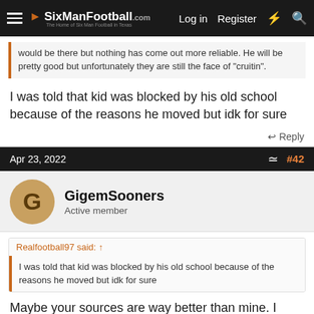SixManFootball.com — Log in   Register
would be there but nothing has come out more reliable. He will be pretty good but unfortunately they are still the face of "cruitin".
I was told that kid was blocked by his old school because of the reasons he moved but idk for sure
↩ Reply
Apr 23, 2022   #42
GigemSooners
Active member
Realfootball97 said: ↑
I was told that kid was blocked by his old school because of the reasons he moved but idk for sure
Maybe your sources are way better than mine. I havent heard that yet. If true, huge blow to RS trying to pull a quick one, yet